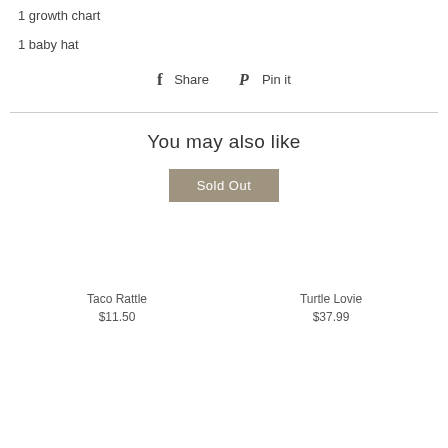1 growth chart
1 baby hat
f Share   P Pin it
You may also like
Sold Out
Taco Rattle
$11.50
Turtle Lovie
$37.99